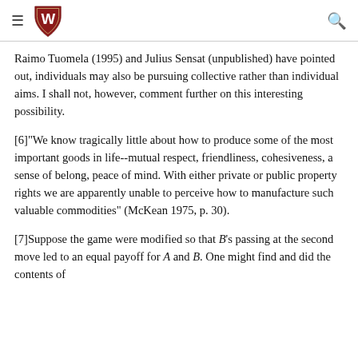University of Wisconsin logo, navigation menu, and search icon
Raimo Tuomela (1995) and Julius Sensat (unpublished) have pointed out, individuals may also be pursuing collective rather than individual aims. I shall not, however, comment further on this interesting possibility.
[6]"We know tragically little about how to produce some of the most important goods in life--mutual respect, friendliness, cohesiveness, a sense of belong, peace of mind. With either private or public property rights we are apparently unable to perceive how to manufacture such valuable commodities" (McKean 1975, p. 30).
[7]Suppose the game were modified so that B's passing at the second move led to an equal payoff for A and B. One might find and did the contents of